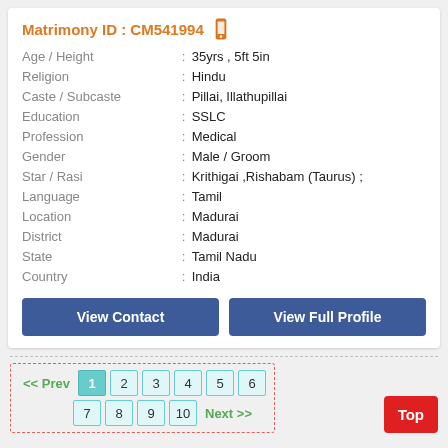Matrimony ID : CM541994
| Field | : | Value |
| --- | --- | --- |
| Age / Height | : | 35yrs , 5ft 5in |
| Religion | : | Hindu |
| Caste / Subcaste | : | Pillai, Illathupillai |
| Education | : | SSLC |
| Profession | : | Medical |
| Gender | : | Male / Groom |
| Star / Rasi | : | Krithigai ,Rishabam (Taurus) ; |
| Language | : | Tamil |
| Location | : | Madurai |
| District | : | Madurai |
| State | : | Tamil Nadu |
| Country | : | India |
View Contact
View Full Profile
<< Prev  1  2  3  4  5  6  7  8  9  10  Next >>  Top